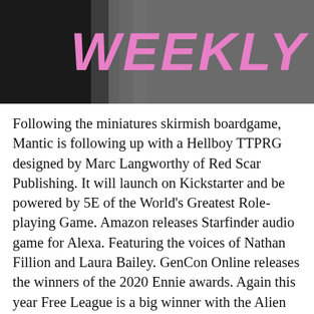[Figure (illustration): Banner image with dark background on the left side and the word WEEKLY in large pink bold italic letters on the right]
Following the miniatures skirmish boardgame, Mantic is following up with a Hellboy TTPRG designed by Marc Langworthy of Red Scar Publishing. It will launch on Kickstarter and be powered by 5E of the World's Greatest Role-playing Game. Amazon releases Starfinder audio game for Alexa. Featuring the voices of Nathan Fillion and Laura Bailey. GenCon Online releases the winners of the 2020 Ennie awards. Again this year Free League is a big winner with the Alien RPG and Mörk Borg. Thousand Year Old Vampire and Ironsworn Delve were also winners. As of this release, the Star Trek 2d20 Humble Bundle is now concluded, but the PDFs are available on DriveThruRPG and the free quickstart is on the Modiphius store. The Masters of the Universe going to be a pen and paper RPG power by Cortex Prime. Legends of Grayskull will be published in 2021 and will include a 250-page hardcover